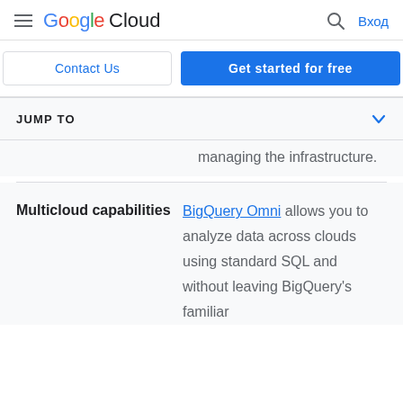Google Cloud — Вход
Contact Us | Get started for free
JUMP TO
managing the infrastructure.
Multicloud capabilities — BigQuery Omni allows you to analyze data across clouds using standard SQL and without leaving BigQuery's familiar